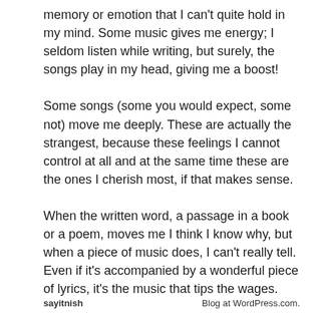memory or emotion that I can't quite hold in my mind. Some music gives me energy; I seldom listen while writing, but surely, the songs play in my head, giving me a boost! Some songs (some you would expect, some not) move me deeply. These are actually the strangest, because these feelings I cannot control at all and at the same time these are the ones I cherish most, if that makes sense. When the written word, a passage in a book or a poem, moves me I think I know why, but when a piece of music does, I can't really tell. Even if it's accompanied by a wonderful piece of lyrics, it's the music that tips the wages. We all have a favorite tune though. Mine is when sometimes a song can blind me to what I
sayitnish
Blog at WordPress.com.